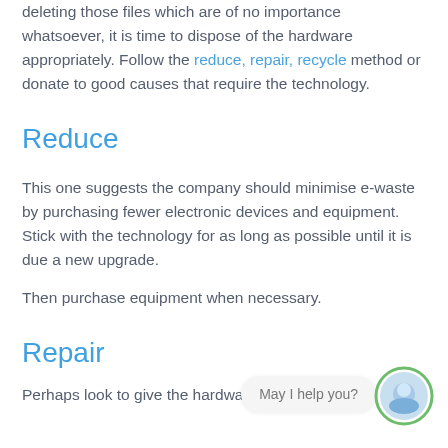deleting those files which are of no importance whatsoever, it is time to dispose of the hardware appropriately. Follow the reduce, repair, recycle method or donate to good causes that require the technology.
Reduce
This one suggests the company should minimise e-waste by purchasing fewer electronic devices and equipment. Stick with the technology for as long as possible until it is due a new upgrade.
Then purchase equipment when necessary.
Repair
Perhaps look to give the hardware a new lease of